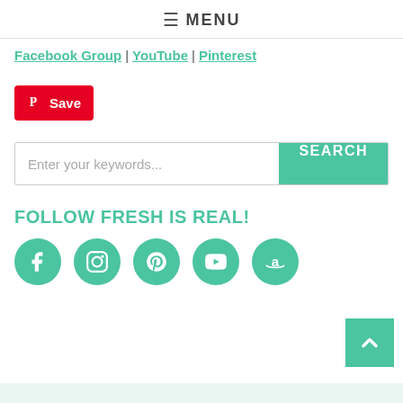≡ MENU
Facebook Group | YouTube | Pinterest
[Figure (screenshot): Pinterest Save button — red rounded rectangle with Pinterest logo and 'Save' text in white]
[Figure (screenshot): Search bar with placeholder text 'Enter your keywords...' and a teal 'SEARCH' button]
FOLLOW FRESH IS REAL!
[Figure (infographic): Row of five teal circular social media icons: Facebook, Instagram, Pinterest, YouTube, Amazon]
[Figure (screenshot): Teal 'back to top' button with upward chevron arrow, positioned at bottom right]